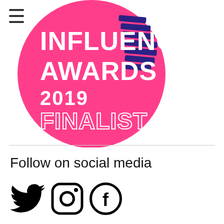[Figure (logo): Influence Awards 2019 Finalist badge — a large pink circle with white bold text reading INFLUENCE AWARDS 2019 FINALIST and a decorative dark purple/navy striped wing or feather element on the right side. A hamburger menu icon (three horizontal lines) appears in the top-left corner.]
Follow on social media
[Figure (other): Three social media icons in black: Twitter bird icon, Instagram camera outline icon, and Facebook F-in-circle icon.]